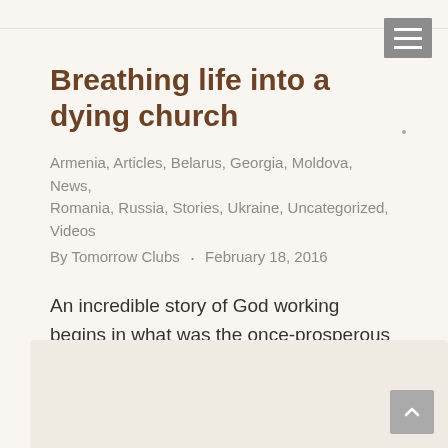Breathing life into a dying church
Armenia, Articles, Belarus, Georgia, Moldova, News, Romania, Russia, Stories, Ukraine, Uncategorized, Videos
By Tomorrow Clubs · February 18, 2016
An incredible story of God working begins in what was the once-prosperous city of Lori, located in northern Armenia. During the communist regime, there were over 30,000 residents living in the city, with factories being the primary means of employment. Similar to many places where Tomorrow Clubs operate, after the fall of the Soviet Union,…